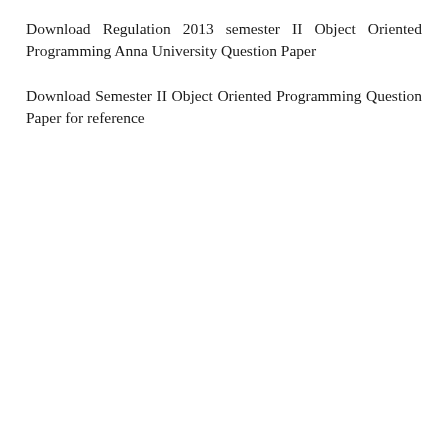Download Regulation 2013 semester II Object Oriented Programming Anna University Question Paper
Download Semester II Object Oriented Programming Question Paper for reference